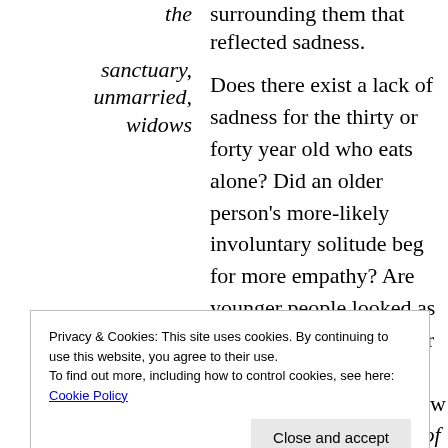the sanctuary, unmarried, widows
surrounding them that reflected sadness. Does there exist a lack of sadness for the thirty or forty year old who eats alone? Did an older person’s more-likely involuntary solitude beg for more empathy? Are younger people looked as having more resilience or is there a mentality out there that we are somehow defective or choose to be alone or fully
Privacy & Cookies: This site uses cookies. By continuing to use this website, you agree to their use.
To find out more, including how to control cookies, see here: Cookie Policy
Close and accept
phone to give us the lack of